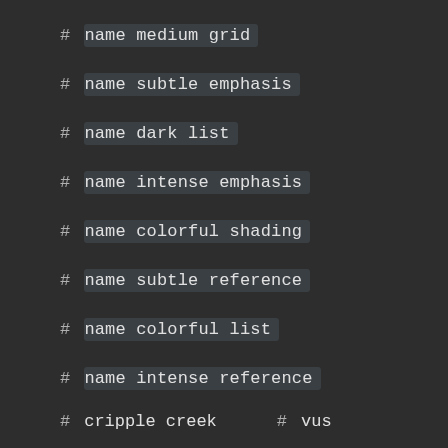# name medium grid
# name subtle emphasis
# name dark list
# name intense emphasis
# name colorful shading
# name subtle reference
# name colorful list
# name intense reference
# cripple creek   # vus